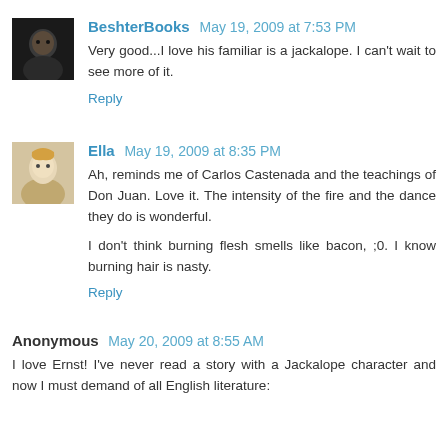BeshterBooks May 19, 2009 at 7:53 PM
Very good...I love his familiar is a jackalope. I can't wait to see more of it.
Reply
Ella May 19, 2009 at 8:35 PM
Ah, reminds me of Carlos Castenada and the teachings of Don Juan. Love it. The intensity of the fire and the dance they do is wonderful.
I don't think burning flesh smells like bacon, ;0. I know burning hair is nasty.
Reply
Anonymous May 20, 2009 at 8:55 AM
I love Ernst! I've never read a story with a Jackalope character and now I must demand of all English literature: